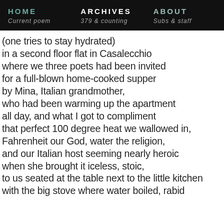HOME / Current poem | ARCHIVES / 379 & counting | ABOUT / Subs & staff
(one tries to stay hydrated)
in a second floor flat in Casalecchio
where we three poets had been invited
for a full-blown home-cooked supper
by Mina, Italian grandmother,
who had been warming up the apartment
all day, and what I got to compliment
that perfect 100 degree heat we wallowed in,
Fahrenheit our God, water the religion,
and our Italian host seeming nearly heroic
when she brought it iceless, stoic,
to us seated at the table next to the little kitchen
with the big stove where water boiled, rabid